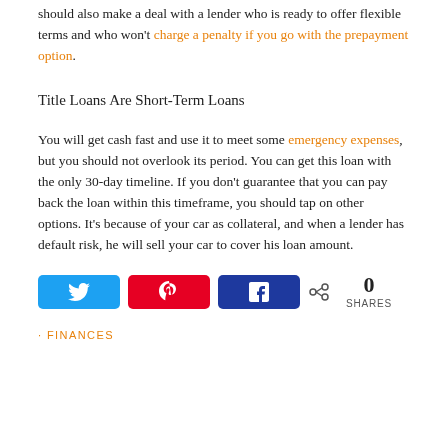should also make a deal with a lender who is ready to offer flexible terms and who won't charge a penalty if you go with the prepayment option.
Title Loans Are Short-Term Loans
You will get cash fast and use it to meet some emergency expenses, but you should not overlook its period. You can get this loan with the only 30-day timeline. If you don't guarantee that you can pay back the loan within this timeframe, you should tap on other options. It's because of your car as collateral, and when a lender has default risk, he will sell your car to cover his loan amount.
[Figure (infographic): Social share bar with Twitter, Pinterest, and Facebook buttons, showing 0 SHARES]
· FINANCES